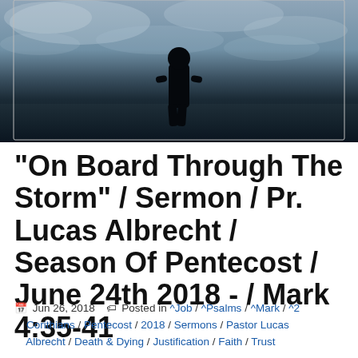[Figure (photo): A silhouetted person standing in front of a cloudy sky and body of water, viewed from behind. Dark, moody blue-grey tones.]
"On Board Through The Storm" / Sermon / Pr. Lucas Albrecht / Season Of Pentecost / June 24th 2018 - / Mark 4:35-41
Jun 26, 2018   Posted in ^Job / ^Psalms / ^Mark / ^2 Corinthians / Pentecost / 2018 / Sermons / Pastor Lucas Albrecht / Death & Dying / Justification / Faith / Trust